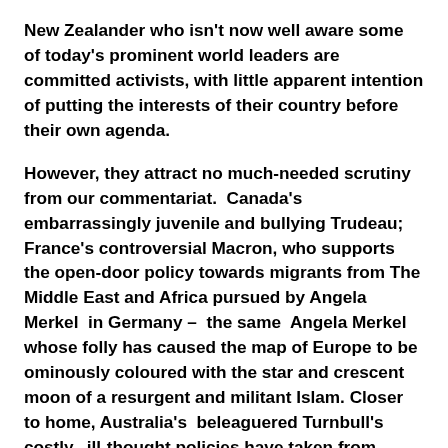New Zealander who isn't now well aware some of today's prominent world leaders are committed activists, with little apparent intention of putting the interests of their country before their own agenda.
However, they attract no much-needed scrutiny from our commentariat. Canada's embarrassingly juvenile and bullying Trudeau; France's controversial Macron, who supports the open-door policy towards migrants from The Middle East and Africa pursued by Angela Merkel in Germany – the same Angela Merkel whose folly has caused the map of Europe to be ominously coloured with the star and crescent moon of a resurgent and militant Islam. Closer to home, Australia's beleaguered Turnbull's costly, ill-thought policies have taken from Australia any claim to be still